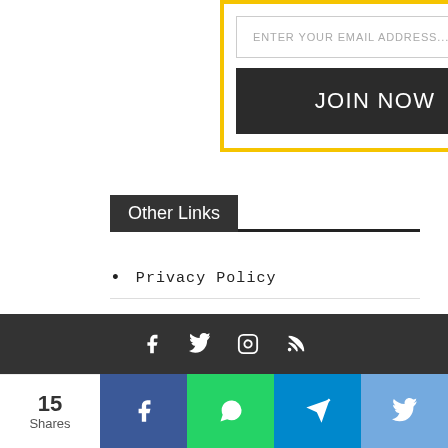[Figure (screenshot): Email signup form with input field showing placeholder 'ENTER YOUR EMAIL ADDRESS...' and a dark 'JOIN NOW' button, enclosed in a yellow border box]
Other Links
Privacy Policy
Disclaimer
About Us
[Figure (screenshot): Dark footer bar with social media icons: Facebook, Twitter, Instagram, RSS]
[Figure (infographic): Social share bar showing 15 Shares, with Facebook (blue), WhatsApp (green), Telegram (blue), Twitter (light blue) share buttons]